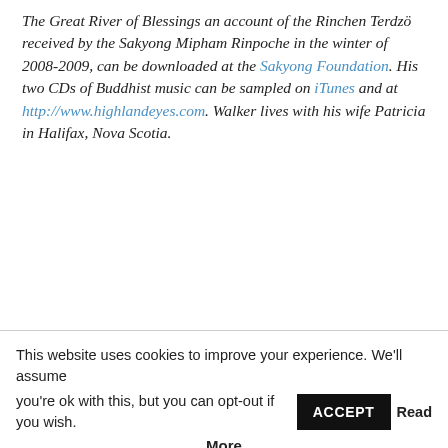The Great River of Blessings an account of the Rinchen Terdzö received by the Sakyong Mipham Rinpoche in the winter of 2008-2009, can be downloaded at the Sakyong Foundation. His two CDs of Buddhist music can be sampled on iTunes and at http://www.highlandeyes.com. Walker lives with his wife Patricia in Halifax, Nova Scotia.
This website uses cookies to improve your experience. We'll assume you're ok with this, but you can opt-out if you wish. ACCEPT Read More